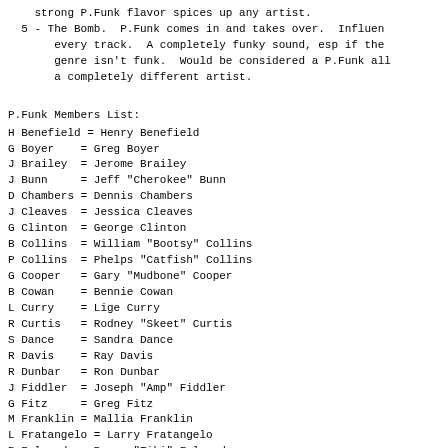strong P.Funk flavor spices up any artist.
5 - The Bomb.  P.Funk comes in and takes over.  Influen
       every track.  A completely funky sound, esp if the
       genre isn't funk.  Would be considered a P.Funk all
       a completely different artist.
P.Funk Members List:
H Benefield = Henry Benefield
G Boyer    = Greg Boyer
J Brailey  = Jerome Brailey
J Bunn      = Jeff "Cherokee" Bunn
D Chambers = Dennis Chambers
J Cleaves  = Jessica Cleaves
G Clinton  = George Clinton
B Collins  = William "Bootsy" Collins
P Collins  = Phelps "Catfish" Collins
G Cooper   = Gary "Mudbone" Cooper
B Cowan    = Bennie Cowan
L Curry    = Lige Curry
R Curtis   = Rodney "Skeet" Curtis
S Dance    = Sandra Dance
R Davis    = Ray Davis
R Dunbar   = Ron Dunbar
J Fiddler  = Joseph "Amp" Fiddler
G Fitz     = Greg Fitz
M Franklin = Mallia Franklin
L Fratangelo = Larry Fratangelo
R Fulwood  = Ramon "Tiki" Fulwood
R Gardner  = Rick Gardner